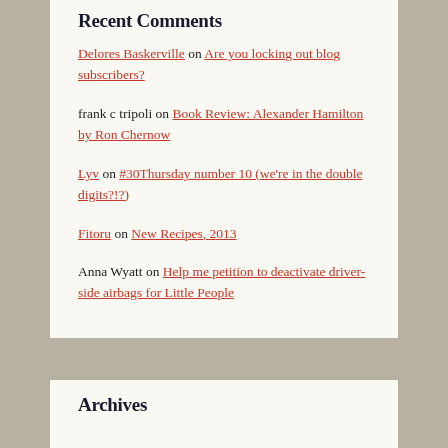Recent Comments
Delores Baskerville on Are you locking out blog subscribers?
frank c tripoli on Book Review: Alexander Hamilton by Ron Chernow
Lyv on #30Thursday number 10 (we're in the double digits?!?)
Fitoru on New Recipes, 2013
Anna Wyatt on Help me petition to deactivate driver-side airbags for Little People
Archives